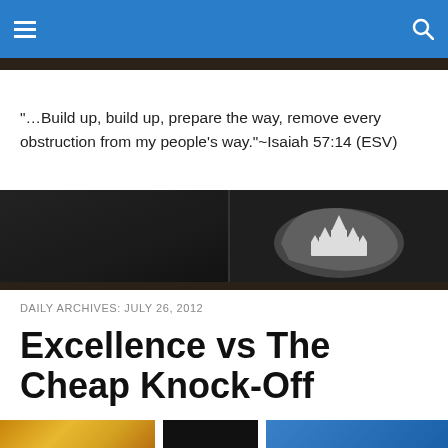Navigation header with hamburger menu and search icon
"…Build up, build up, prepare the way, remove every obstruction from my people's way."~Isaiah 57:14 (ESV)
[Figure (photo): Dark banner with a white illustrated map/silhouette of Cambodia featuring Angkor Wat temple graphic on the right side against a black background]
DAILY ARCHIVES: JULY 26, 2012
Excellence vs The Cheap Knock-Off
[Figure (photo): Partial bottom strip showing three images: a yellow/gold colored item on the left, a dark black item in the middle, and a blue item on the right]